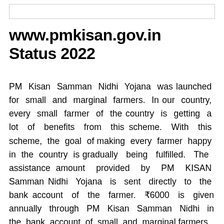www.pmkisan.gov.in Status 2022
PM Kisan Samman Nidhi Yojana was launched for small and marginal farmers. In our country, every small farmer of the country is getting a lot of benefits from this scheme. With this scheme, the goal of making every farmer happy in the country is gradually being fulfilled. The assistance amount provided by PM KISAN Samman Nidhi Yojana is sent directly to the bank account of the farmer. ₹6000 is given annually through PM Kisan Samman Nidhi in the bank account of small and marginal farmers.